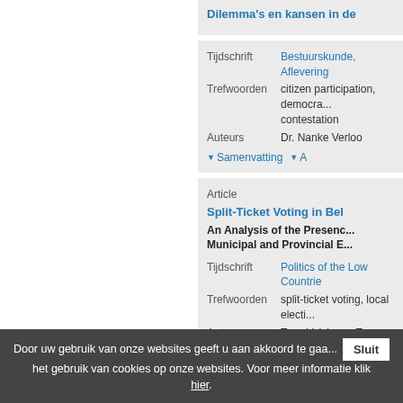Dilemma's en kansen in de...
Tijdschrift: Bestuurskunde, Aflevering...
Trefwoorden: citizen participation, democra... contestation
Auteurs: Dr. Nanke Verloo
▼ Samenvatting  ▼ A...
Article
Split-Ticket Voting in Bel...
An Analysis of the Presenc... Municipal and Provincial E...
Tijdschrift: Politics of the Low Countrie...
Trefwoorden: split-ticket voting, local electi...
Auteurs: Tony Valcke en Tom Verhelst...
▼ Samenvatting  ▼ A...
Vrij artikel
Paradox van het Pact va...
Dynamische regionale sam...
Door uw gebruik van onze websites geeft u aan akkoord te gaa... het gebruik van cookies op onze websites. Voor meer informatie klik hier.